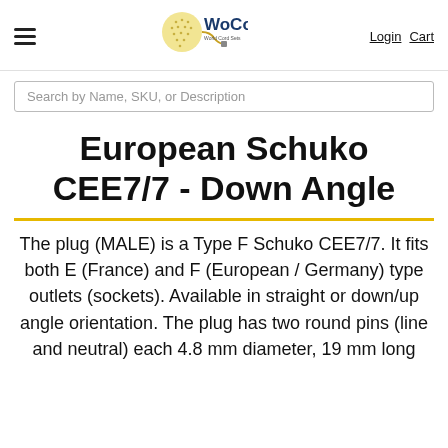WoCo World Cord Sets — Login  Cart
Search by Name, SKU, or Description
European Schuko CEE7/7 - Down Angle
The plug (MALE) is a Type F Schuko CEE7/7. It fits both E (France) and F (European / Germany) type outlets (sockets). Available in straight or down/up angle orientation. The plug has two round pins (line and neutral) each 4.8 mm diameter, 19 mm long